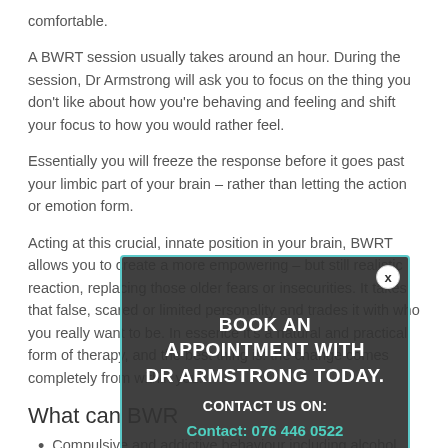comfortable.
A BWRT session usually takes around an hour. During the session, Dr Armstrong will ask you to focus on the thing you don't like about how you're behaving and feeling and shift your focus to how you would rather feel.
Essentially you will freeze the response before it goes past your limbic part of your brain – rather than letting the action or emotion form.
Acting at this crucial, innate position in your brain, BWRT allows you to create a more empowering – but still realistic reaction, replacing those older fears or insecurities. It takes that false, scared or limited personality and trades it with who you really want to be. In essence it's a natural and practical form of therapy, and the best thing is: the change comes completely from within you.
[Figure (infographic): Modal popup overlay with dark background and teal border. Contains text: 'BOOK AN APPOINTMENT WITH DR ARMSTRONG TODAY. CONTACT US ON: Contact: 076 446 0522' and a 'Contact Us Today' button. Has a close (x) button in top right corner.]
What can BWR...
Compulsive and addictive behaviour including alcohol